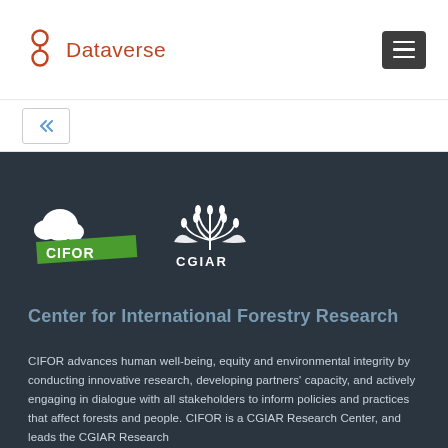Dataverse
[Figure (logo): CIFOR and CGIAR logos on dark background]
Center for International Forestry Research
CIFOR advances human well-being, equity and environmental integrity by conducting innovative research, developing partners' capacity, and actively engaging in dialogue with all stakeholders to inform policies and practices that affect forests and people. CIFOR is a CGIAR Research Center, and leads the CGIAR Research